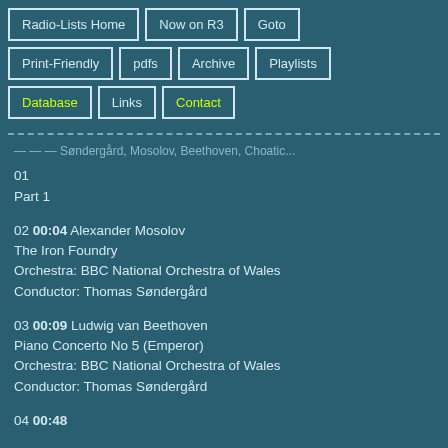Radio-Lists Home
Now on R3
Goto
Print-Friendly
pdfs
Archive
Playlists
Database
Links
Contact
— — — Søndergård, Mosolov, Beethoven, Choatic...
01
Part 1
02 00:04 Alexander Mosolov
The Iron Foundry
Orchestra: BBC National Orchestra of Wales
Conductor: Thomas Søndergård
03 00:09 Ludwig van Beethoven
Piano Concerto No 5 (Emperor)
Orchestra: BBC National Orchestra of Wales
Conductor: Thomas Søndergård
04 00:48